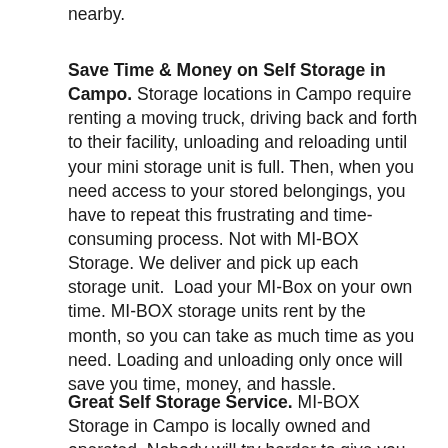nearby.
Save Time & Money on Self Storage in Campo. Storage locations in Campo require renting a moving truck, driving back and forth to their facility, unloading and reloading until your mini storage unit is full. Then, when you need access to your stored belongings, you have to repeat this frustrating and time-consuming process. Not with MI-BOX Storage. We deliver and pick up each storage unit.  Load your MI-Box on your own time. MI-BOX storage units rent by the month, so you can take as much time as you need. Loading and unloading only once will save you time, money, and hassle.
Great Self Storage Service. MI-BOX Storage in Campo is locally owned and operated. Nobody will try harder to give you the best possible storage